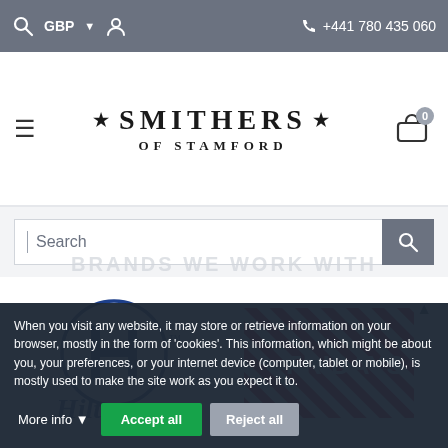🔍 GBP ▼ 👤   +441 780 435 060
[Figure (logo): Smithers of Stamford logo with stars and serif font]
[Figure (screenshot): Search bar with magnifying glass icon]
[Figure (logo): Hilton hotel logo - blue circular H mark with Hilton text]
[Figure (logo): TGI Fridays logo - red and white striped with TGI FRIDAYS text]
BRANDS WE WORK WITH
When you visit any website, it may store or retrieve information on your browser, mostly in the form of 'cookies'. This information, which might be about you, your preferences, or your internet device (computer, tablet or mobile), is mostly used to make the site work as you expect it to.